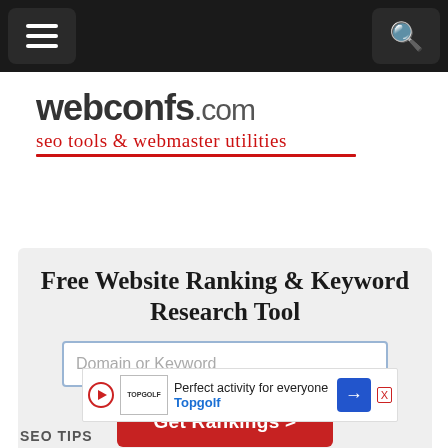Navigation bar with hamburger menu and search icon
[Figure (logo): webconfs.com logo with tagline 'seo tools & webmaster utilities' in red cursive font, underlined in red]
Free Website Ranking & Keyword Research Tool
Domain or Keyword [input field] Get Rankings > [button] Close X [button]
[Figure (other): Advertisement banner for Topgolf: 'Perfect activity for everyone' with Topgolf logo and navigation arrow icon]
SEO TIPS